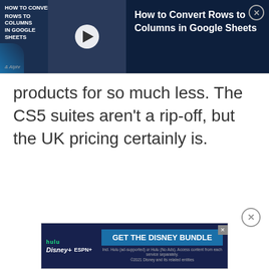[Figure (screenshot): Embedded video ad for 'How to Convert Rows to Columns in Google Sheets' from Alphr, showing a dark navy banner with video thumbnail on the left (with play button and title overlay), and the article title on the right with a close button.]
products for so much less. The CS5 suites aren't a rip-off, but the UK pricing certainly is.
[Figure (screenshot): Disney Bundle advertisement banner showing Hulu, Disney+, and ESPN+ logos on the left and 'GET THE DISNEY BUNDLE' button on the right, with fine print about services.]